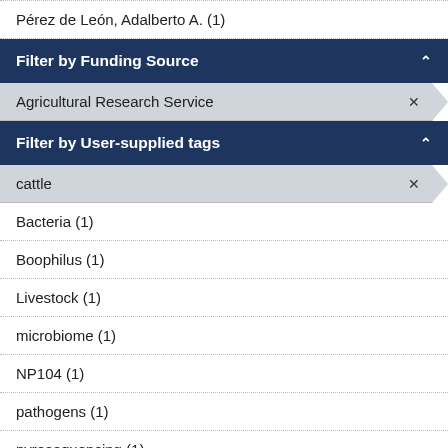Pérez de León, Adalberto A. (1)
Filter by Funding Source
Agricultural Research Service ×
Filter by User-supplied tags
cattle ×
Bacteria (1)
Boophilus (1)
Livestock (1)
microbiome (1)
NP104 (1)
pathogens (1)
pyrosequencing (1)
Recursion... (1)